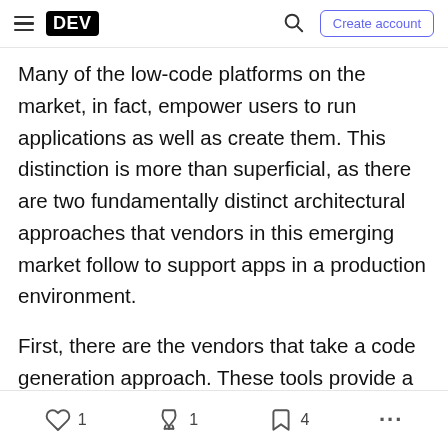DEV | Search | Create account
Many of the low-code platforms on the market, in fact, empower users to run applications as well as create them. This distinction is more than superficial, as there are two fundamentally distinct architectural approaches that vendors in this emerging market follow to support apps in a production environment.
First, there are the vendors that take a code generation approach. These tools provide a visual development environment that simplifies the creation of the application – but once it's finished, the platform generates executable code that will run on a Java machine or in a Microsoft runtime environment.
♡ 1  🔥 1  🔖 4  ...